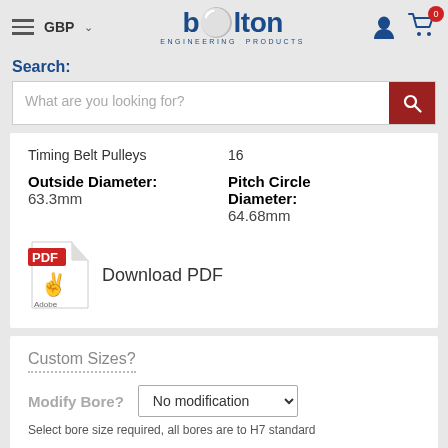GBP  Bolton Engineering Products  (0)
Search:
What are you looking for?
| Property | Value |
| --- | --- |
| Timing Belt Pulleys | 16 |
| Outside Diameter: | 63.3mm |
| Pitch Circle Diameter: | 64.68mm |
Download PDF
Custom Sizes?
Modify Bore?  No modification
Select bore size required, all bores are to H7 standard